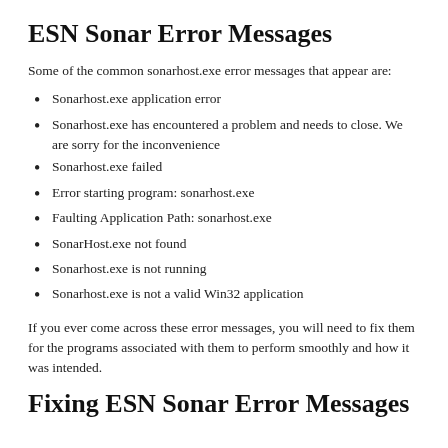ESN Sonar Error Messages
Some of the common sonarhost.exe error messages that appear are:
Sonarhost.exe application error
Sonarhost.exe has encountered a problem and needs to close. We are sorry for the inconvenience
Sonarhost.exe failed
Error starting program: sonarhost.exe
Faulting Application Path: sonarhost.exe
SonarHost.exe not found
Sonarhost.exe is not running
Sonarhost.exe is not a valid Win32 application
If you ever come across these error messages, you will need to fix them for the programs associated with them to perform smoothly and how it was intended.
Fixing ESN Sonar Error Messages